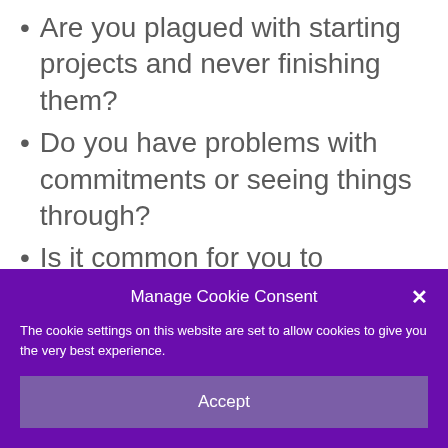Are you plagued with starting projects and never finishing them?
Do you have problems with commitments or seeing things through?
Is it common for you to
Manage Cookie Consent
The cookie settings on this website are set to allow cookies to give you the very best experience.
Accept